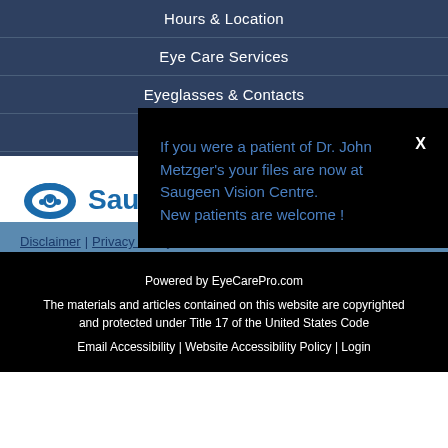Hours & Location
Eye Care Services
Eyeglasses & Contacts
Insurance
[Figure (logo): Saugeen Vision Centre logo with eye icon and partial text 'Sau']
If you were a patient of Dr. John Metzger's your files are now at Saugeen Vision Centre. New patients are welcome !
Disclaimer | Privacy Policy
Powered by EyeCarePro.com
The materials and articles contained on this website are copyrighted and protected under Title 17 of the United States Code
Email Accessibility | Website Accessibility Policy | Login